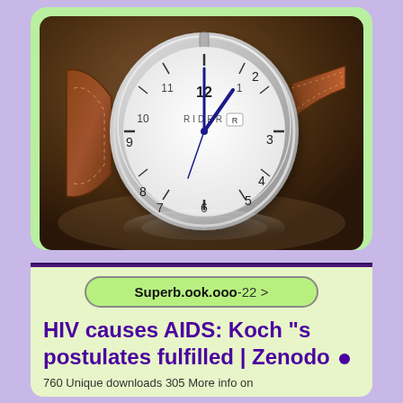[Figure (photo): A RIDER brand analog wristwatch with white dial, blue hands, brown leather strap, sitting on a reflective surface with its reflection visible below.]
Superb.ook.ooo-22 >
HIV causes AIDS: Koch "s postulates fulfilled | Zenodo ●
760 Unique downloads 305 More info on